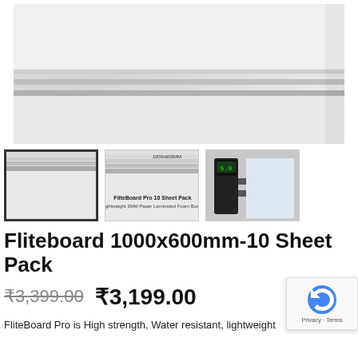[Figure (photo): Main product photo showing stacked white foam board sheets close-up, light gray background]
[Figure (photo): Thumbnail 1 (selected): close-up of foam board sheet stack edges]
[Figure (photo): Thumbnail 2: foam board sheets with text 'FliteBoard Pro 10 Sheet Pack' and '1000x600MM']
[Figure (photo): Thumbnail 3: digital caliper measuring foam board thickness]
Fliteboard 1000x600mm-10 Sheet Pack
₹3,399.00  ₹3,199.00
FliteBoard Pro is High strength, Water resistant, lightweight